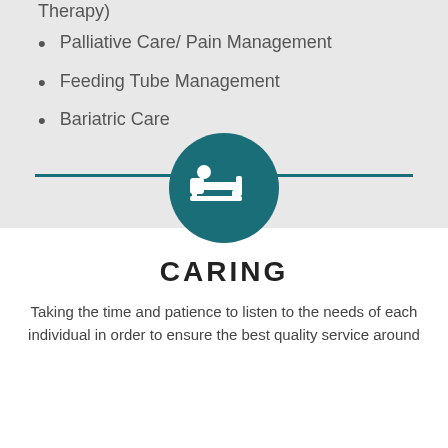Therapy)
Palliative Care/ Pain Management
Feeding Tube Management
Bariatric Care
[Figure (illustration): White bed/patient icon on teal circular background, with teal horizontal line]
CARING
Taking the time and patience to listen to the needs of each individual in order to ensure the best quality service around